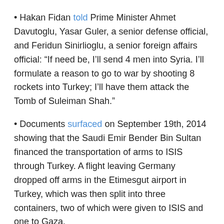• Hakan Fidan told Prime Minister Ahmet Davutoglu, Yasar Guler, a senior defense official, and Feridun Sinirlioglu, a senior foreign affairs official: “If need be, I’ll send 4 men into Syria. I’ll formulate a reason to go to war by shooting 8 rockets into Turkey; I’ll have them attack the Tomb of Suleiman Shah.”
• Documents surfaced on September 19th, 2014 showing that the Saudi Emir Bender Bin Sultan financed the transportation of arms to ISIS through Turkey. A flight leaving Germany dropped off arms in the Etimesgut airport in Turkey, which was then split into three containers, two of which were given to ISIS and one to Gaza.
Turkey Provided Transport and Logistical Assistance to ISIS Fighters